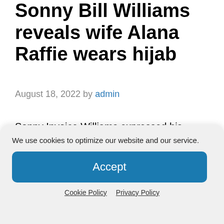Sonny Bill Williams reveals wife Alana Raffie wears hijab
August 18, 2022 by admin
Sonny Invoice Williams expressed his pleasure after his spouse Alana's resolution to put on the hijab. The 37-year-old former NRL and rugby nice and now skilled boxer posted a household picture on Instagram on
We use cookies to optimize our website and our service.
Accept
Cookie Policy   Privacy Policy